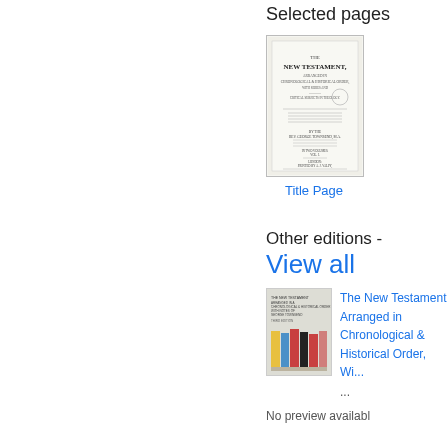Selected pages
[Figure (photo): Thumbnail image of the title page of The New Testament arranged in chronological and historical order]
Title Page
Other editions - View all
[Figure (photo): Thumbnail cover of The New Testament Arranged in Chronological & Historical Order book with colorful book spines design]
The New Testament Arranged in Chronological & Historical Order, Wi...
...
No preview availabl